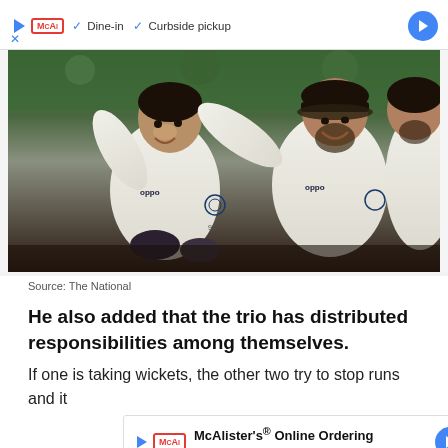[Figure (screenshot): Advertisement banner at top: McAlister's Deli ad with play icon, red McAl badge, checkmarks for Dine-in and Curbside pickup, blue navigation arrow icon, and X close button]
[Figure (photo): Cricket players in white India cricket uniforms (OPPO sponsor) celebrating, three players visible, smiling and embracing]
Source: The National
He also added that the trio has distributed responsibilities among themselves.
If one is taking wickets, the other two try to stop runs and it
[Figure (screenshot): McAlister's Online Ordering advertisement banner overlay with McAl badge, title text and blue navigation arrow]
This is